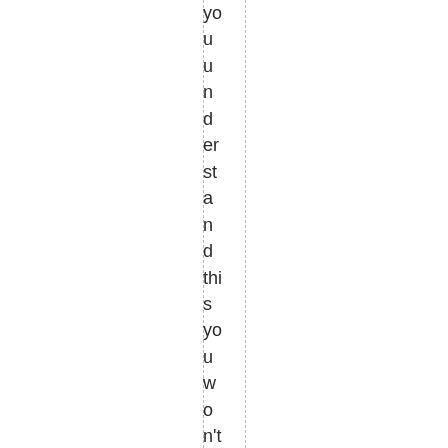you understand this you won't fall prey to the established